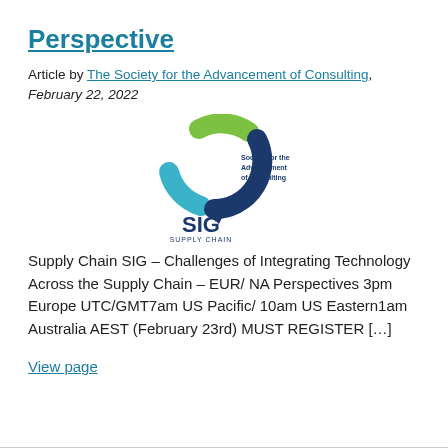Perspective
Article by The Society for the Advancement of Consulting, February 22, 2022
[Figure (logo): Society for the Advancement of Consulting – SIG Supply Chain logo with three circular arrows (green, teal, dark blue) and text 'SIG SUPPLY CHAIN']
Supply Chain SIG – Challenges of Integrating Technology Across the Supply Chain – EUR/ NA Perspectives 3pm Europe UTC/GMT7am US Pacific/ 10am US Eastern1am Australia AEST (February 23rd) MUST REGISTER […]
View page